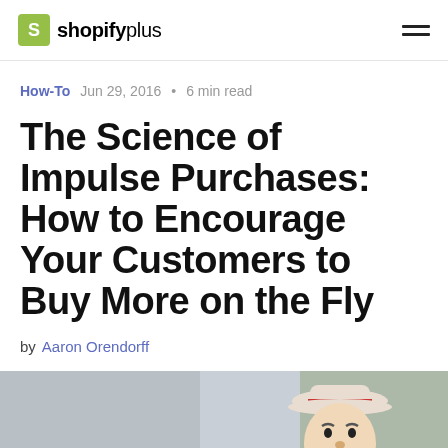shopify plus
How-To  Jun 29, 2016 • 6 min read
The Science of Impulse Purchases: How to Encourage Your Customers to Buy More on the Fly
by Aaron Orendorff
[Figure (photo): Decorative toy figurine of a man with a mustache wearing a hat, photographed outdoors with blurred background.]